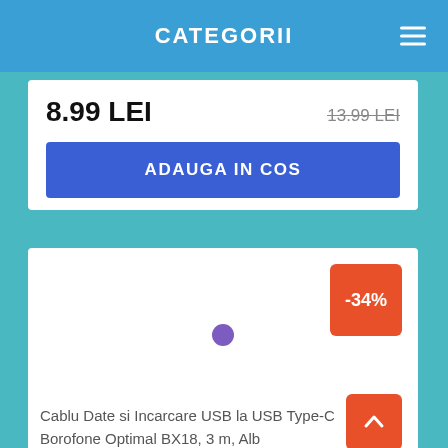CATEGORII
8.99 LEI
13.99 LEI
ADAUGA IN COS
[Figure (other): Product image area with a purple loading spinner circle and a -34% discount badge in orange in the top right corner]
Cablu Date si Incarcare USB la USB Type-C Borofone Optimal BX18, 3 m, Alb